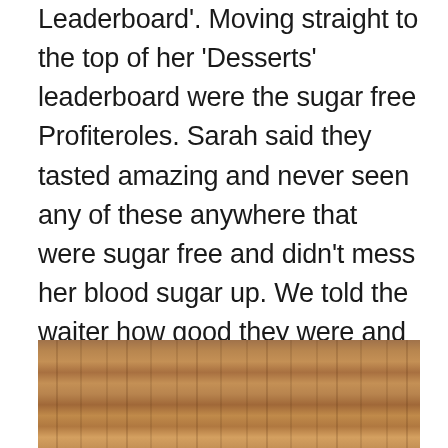Leaderboard'. Moving straight to the top of her 'Desserts' leaderboard were the sugar free Profiteroles. Sarah said they tasted amazing and never seen any of these anywhere that were sugar free and didn't mess her blood sugar up. We told the waiter how good they were and soon the chef came over and chatted to us as we thanked her too! 😀

Now that was a fantastic ending to an even greater day! Happy Birthday Sarah!! ❤
[Figure (photo): Close-up photo of a wooden surface with natural grain and color variation in warm brown tones.]